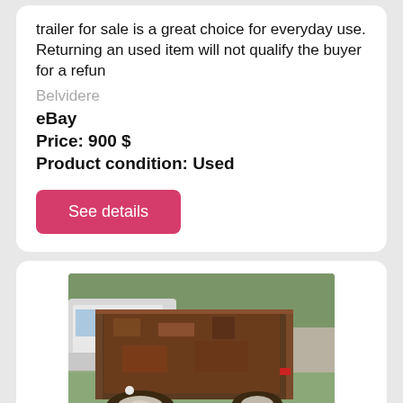trailer for sale is a great choice for everyday use. Returning an used item will not qualify the buyer for a refun
Belvidere
eBay
Price: 900 $
Product condition: Used
See details
[Figure (photo): Photograph of an old rusty utility trailer made from a pickup truck bed, parked on grass with a white truck visible in the background.]